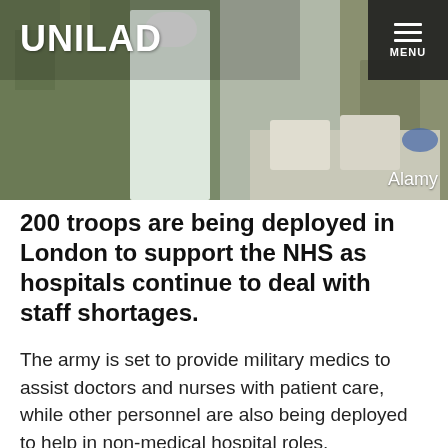[Figure (photo): Header photo showing military personnel in camouflage uniforms and a person in medical PPE/white coat with face mask, appearing to handle medical supplies on a table. UNILAD logo overlaid top left, menu button top right, Alamy credit bottom right.]
200 troops are being deployed in London to support the NHS as hospitals continue to deal with staff shortages.
The army is set to provide military medics to assist doctors and nurses with patient care, while other personnel are also being deployed to help in non-medical hospital roles.
ADVERT